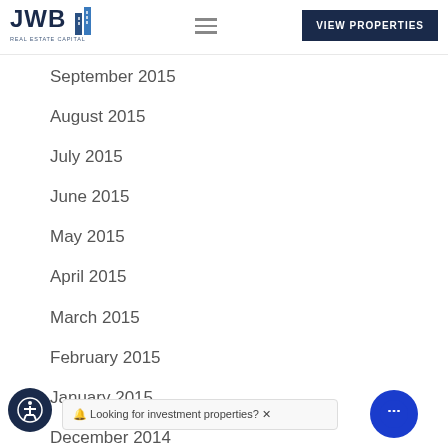JWB Real Estate Capital — VIEW PROPERTIES
September 2015
August 2015
July 2015
June 2015
May 2015
April 2015
March 2015
February 2015
January 2015
December 2014
November 2014
October 2014